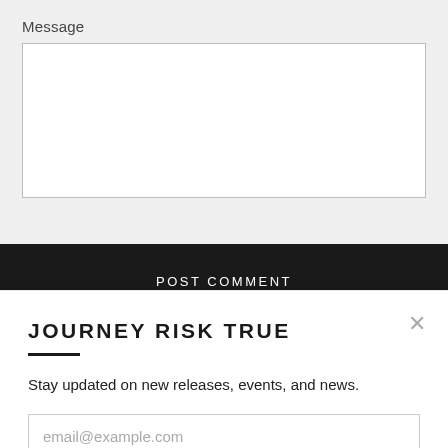Message
[Figure (screenshot): Empty text area input field for composing a comment message]
POST COMMENT
JOURNEY RISK TRUE
Stay updated on new releases, events, and news.
email@example.com
SUBSCRIBE >